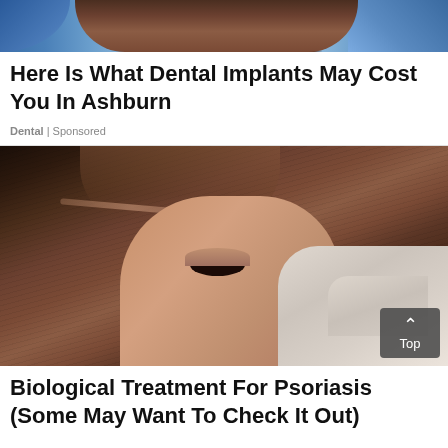[Figure (photo): Top portion of a photo showing a dental or medical procedure with blue gloved hands and dark hair, cropped at top of page]
Here Is What Dental Implants May Cost You In Ashburn
Dental | Sponsored
[Figure (photo): Close-up photo of a woman with dark hair having a treatment applied to her scalp with a white bottle/applicator by a gloved hand. A 'Top' button overlay appears in the bottom-right corner.]
Biological Treatment For Psoriasis (Some May Want To Check It Out)